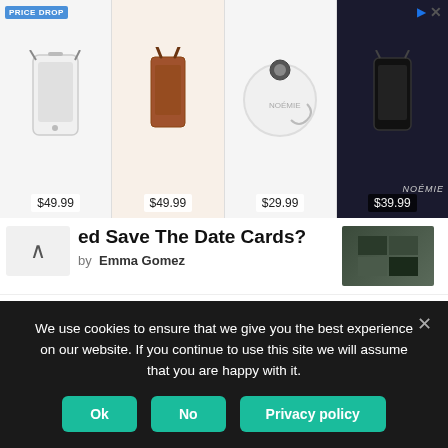[Figure (other): Advertisement banner showing 4 phone case/bag products with prices: $49.99, $49.99, $29.99, $39.99. PRICE DROP label on first item. NOEMIE brand label. Arrow and X close buttons top right.]
ed Save The Date Cards?
by Emma Gomez
T — TECHNOLOGY
The Rules of Using Stock Photography
by Emma Gomez
S — SOCIAL MEDIA
The Ultimate Guide to TikTok
We use cookies to ensure that we give you the best experience on our website. If you continue to use this site we will assume that you are happy with it.